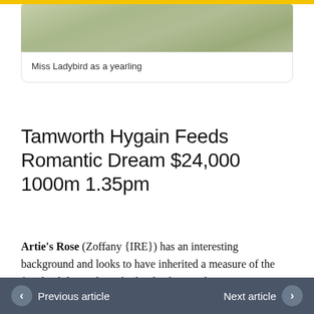[Figure (photo): Photograph of Miss Ladybird as a yearling, showing grass/field background]
Miss Ladybird as a yearling
Tamworth Hygain Feeds Romantic Dream $24,000 1000m 1.35pm
Artie's Rose (Zoffany {IRE}) has an interesting background and looks to have inherited a measure of the family ability judging by her lead-up trial victory at Gosford. Trained by Scott Singleton, she will have the services of Chad
Previous article   Next article